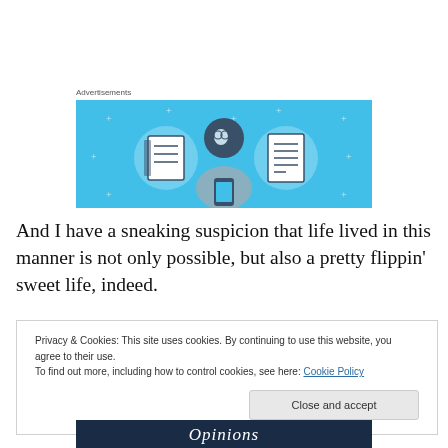Advertisements
[Figure (illustration): Advertisement banner with light blue background showing a cartoon figure of a person looking at a phone, flanked by two circular icons containing notebook and document images, with small star/cross decorations.]
And I have a sneaking suspicion that life lived in this manner is not only possible, but also a pretty flippin' sweet life, indeed.
Privacy & Cookies: This site uses cookies. By continuing to use this website, you agree to their use.
To find out more, including how to control cookies, see here: Cookie Policy
Close and accept
[Figure (illustration): Dark navy banner with white italic text reading 'Opinions']